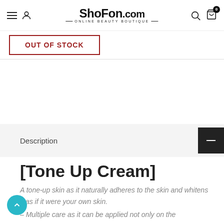ShoFon.com — ONLINE BEAUTY BOUTIQUE
OUT OF STOCK
Description
[Tone Up Cream]
A tone-up skin as it naturally adheres to the skin and whitens it as if it were your own skin.
– Multiple care as it can be applied not only on the